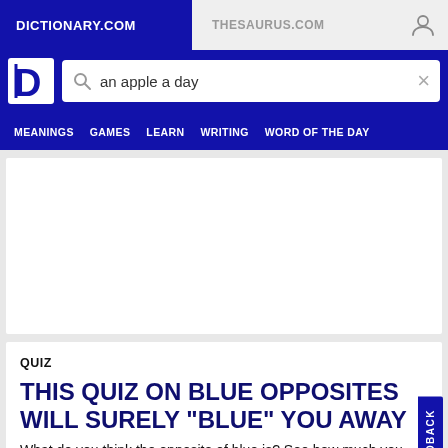DICTIONARY.COM    THESAURUS.COM
[Figure (screenshot): Dictionary.com website header with logo D, search bar showing 'an apple a day', navigation menu with MEANINGS, GAMES, LEARN, WRITING, WORD OF THE DAY]
QUIZ
THIS QUIZ ON BLUE OPPOSITES WILL SURELY "BLUE" YOU AWAY
What do you think the opposite of blue is? See how much you know about the many ways we can